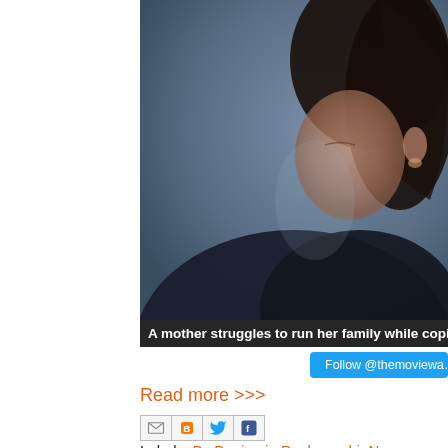[Figure (photo): Close-up of a woman's face with dark hair against a muted blue-grey background, partially cropped]
A mother struggles to run her family while coping wit…
Follow @themoviewa…
Read more >>>
[Figure (other): Social share icons: email, blogger, twitter, facebook]
Labels: By Benjamin Poole, mubi, New Releases